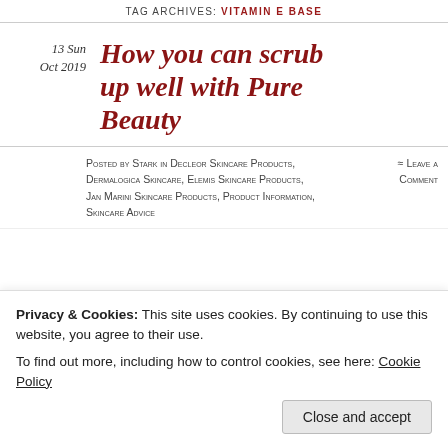TAG ARCHIVES: VITAMIN E BASE
How you can scrub up well with Pure Beauty
13 Sun Oct 2019
Posted by Stark in Decleor Skincare Products, Dermalogica Skincare, Elemis Skincare Products, Jan Marini Skincare Products, Product Information, Skincare Advice ≈ Leave a Comment
Privacy & Cookies: This site uses cookies. By continuing to use this website, you agree to their use. To find out more, including how to control cookies, see here: Cookie Policy Close and accept